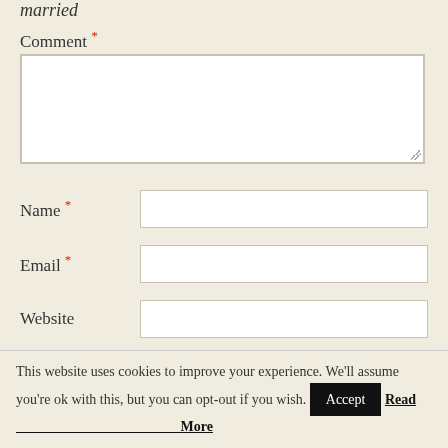married
Comment *
Name *
Email *
Website
Notify me of follow-up comments by email.
Notify me of new posts by email.
This website uses cookies to improve your experience. We'll assume you're ok with this, but you can opt-out if you wish. Accept Read More